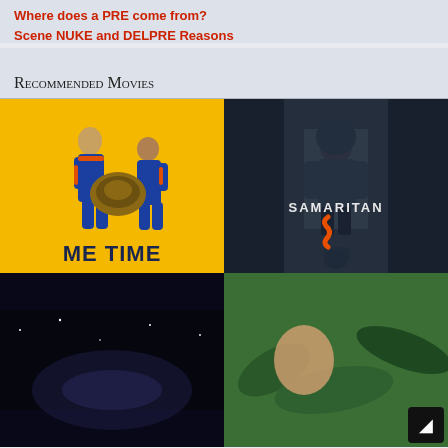Where does a PRE come from?
Scene NUKE and DELPRE Reasons
Recommended Movies
[Figure (photo): Movie poster for 'Me Time' — two men in blue and orange tracksuits carrying a large tortoise against a bright yellow background, with 'ME TIME' in bold dark blue text at the bottom.]
[Figure (photo): Movie poster for 'Samaritan' — a hooded figure standing in a dark alley, with the word 'SAMARITAN' in white letters and an orange stylized 'S' symbol, dark blue/grey tones.]
[Figure (photo): Partial movie poster — dark space/sci-fi themed, bottom-left cell, mostly cut off.]
[Figure (photo): Partial movie poster — green/tropical background with a face partially visible, bottom-right cell, mostly cut off.]